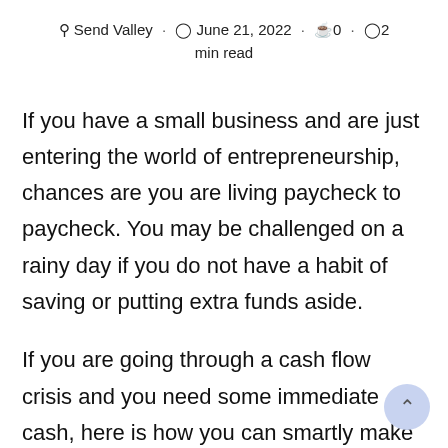Send Valley · June 21, 2022 · 0 · 2 min read
If you have a small business and are just entering the world of entrepreneurship, chances are you are living paycheck to paycheck. You may be challenged on a rainy day if you do not have a habit of saving or putting extra funds aside.
If you are going through a cash flow crisis and you need some immediate cash, here is how you can smartly make quick cash in an emergency: